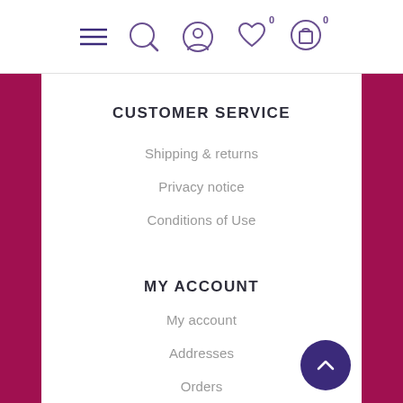Navigation header with menu, search, user, wishlist (0), and cart (0) icons
CUSTOMER SERVICE
Shipping & returns
Privacy notice
Conditions of Use
MY ACCOUNT
My account
Addresses
Orders